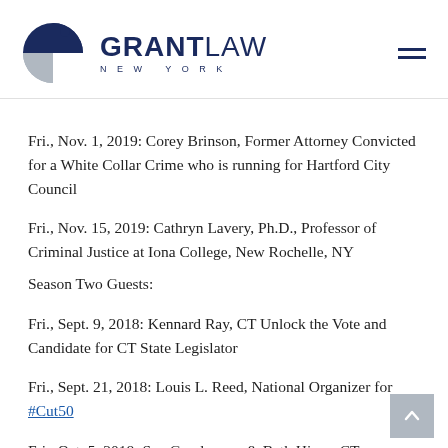[Figure (logo): Grant Law New York logo with pie-chart style circular icon in navy and grey]
Fri., Nov. 1, 2019: Corey Brinson, Former Attorney Convicted for a White Collar Crime who is running for Hartford City Council
Fri., Nov. 15, 2019: Cathryn Lavery, Ph.D., Professor of Criminal Justice at Iona College, New Rochelle, NY
Season Two Guests:
Fri., Sept. 9, 2018: Kennard Ray, CT Unlock the Vote and Candidate for CT State Legislator
Fri., Sept. 21, 2018: Louis L. Reed, National Organizer for #Cut50
Fri., Oct. 5, 2018: Sue Gunderman & Beth Hines, CT